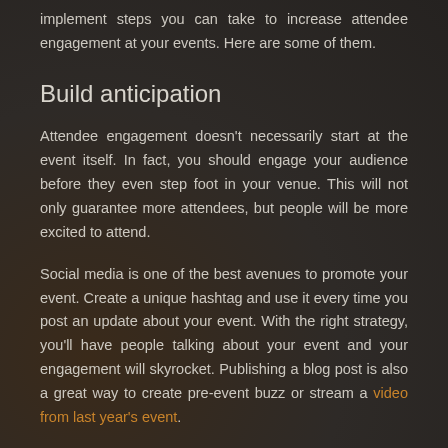implement steps you can take to increase attendee engagement at your events. Here are some of them.
Build anticipation
Attendee engagement doesn't necessarily start at the event itself. In fact, you should engage your audience before they even step foot in your venue. This will not only guarantee more attendees, but people will be more excited to attend.
Social media is one of the best avenues to promote your event. Create a unique hashtag and use it every time you post an update about your event. With the right strategy, you'll have people talking about your event and your engagement will skyrocket. Publishing a blog post is also a great way to create pre-event buzz or stream a video from last year's event.